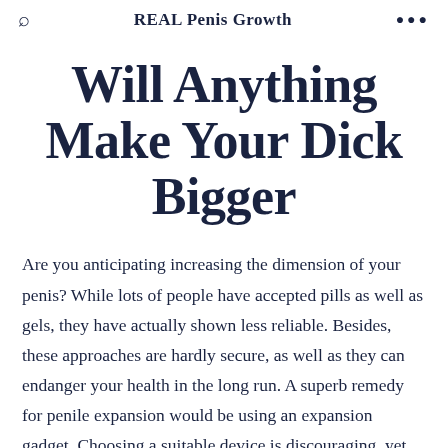REAL Penis Growth
Will Anything Make Your Dick Bigger
Are you anticipating increasing the dimension of your penis? While lots of people have accepted pills as well as gels, they have actually shown less reliable. Besides, these approaches are hardly secure, as well as they can endanger your health in the long run. A superb remedy for penile expansion would be using an expansion gadget. Choosing a suitable device is discouraging, yet here are the best